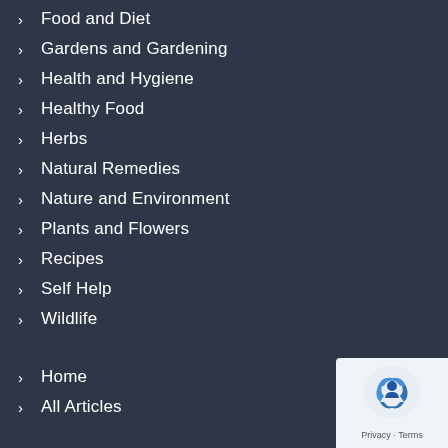Food and Diet
Gardens and Gardening
Health and Hygiene
Healthy Food
Herbs
Natural Remedies
Nature and Environment
Plants and Flowers
Recipes
Self Help
Wildlife
Home
All Articles
[Figure (logo): reCAPTCHA logo with Privacy and Terms text]